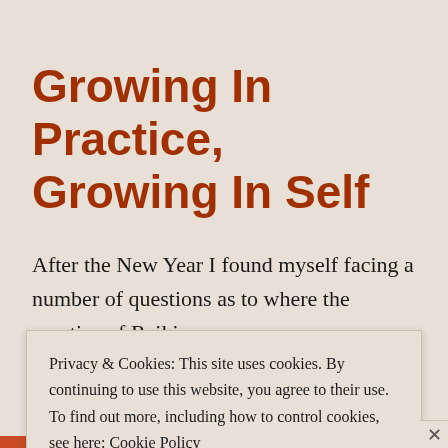Growing In Practice, Growing In Self
After the New Year I found myself facing a number of questions as to where the practice of Reiki was
Privacy & Cookies: This site uses cookies. By continuing to use this website, you agree to their use. To find out more, including how to control cookies, see here: Cookie Policy
Close and accept